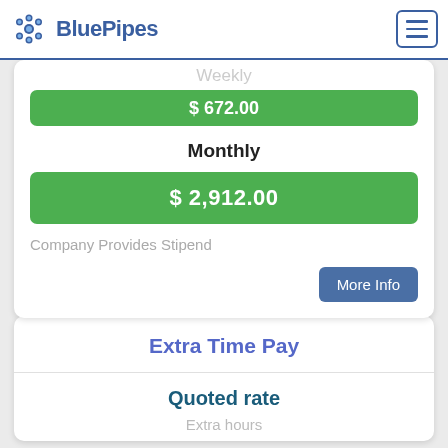BluePipes
Weekly
$ 672.00
Monthly
$ 2,912.00
Company Provides Stipend
More Info
Extra Time Pay
Quoted rate
Extra hours